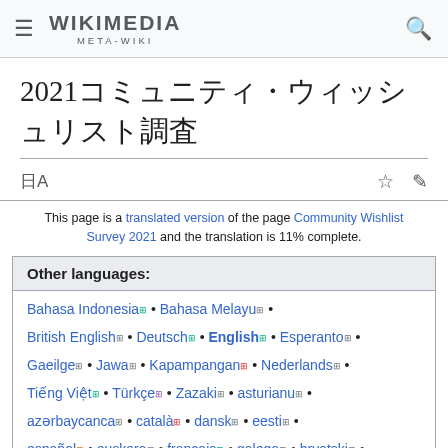WIKIMEDIA META-WIKI
2021コミュニティ・ウィッシュリスト調査
This page is a translated version of the page Community Wishlist Survey 2021 and the translation is 11% complete.
Other languages:
Bahasa Indonesia • Bahasa Melayu •
British English • Deutsch • English • Esperanto •
Gaeilge • Jawa • Kapampangan • Nederlands •
Tiếng Việt • Türkçe • Zazaki • asturianu •
azərbaycanca • català • dansk • eesti •
español • euskara • français • galego • hrvatski •
italiano • kurdî • lietuvių • magyar •